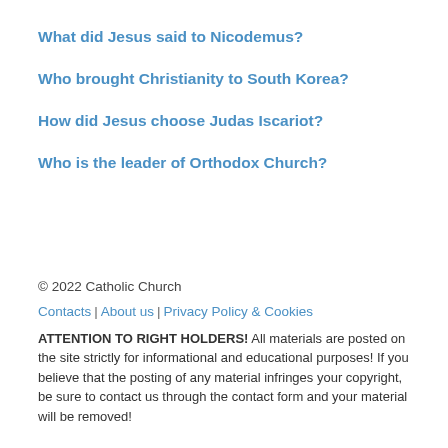What did Jesus said to Nicodemus?
Who brought Christianity to South Korea?
How did Jesus choose Judas Iscariot?
Who is the leader of Orthodox Church?
© 2022 Catholic Church
Contacts | About us | Privacy Policy & Cookies
ATTENTION TO RIGHT HOLDERS! All materials are posted on the site strictly for informational and educational purposes! If you believe that the posting of any material infringes your copyright, be sure to contact us through the contact form and your material will be removed!